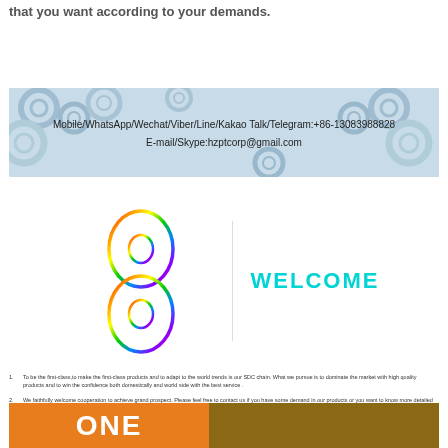that you want according to your demands.
[Figure (infographic): Contact banner with gear background. Text: Mobile/WhatsApp/Wechat/Viber/Line/Kakao Talk/Telegram:+86-13083988828 E-mail/Skype:hzptcorp@gmail.com]
[Figure (logo): Colorful figure-8 chain link logo with WELCOME text in cyan]
To be the first-class,to make the first-class products and to adapt to the world trends is our SDC chain. What we pursue is to dominate the market with high quality products and to win the confidence both domestically and world side with the best service .
We faithfully welcome cooperation to achieve grand prospect. Please feel free to contact us if you have some demand in our  products or you want to know more detailed information about our company and our products .
[Figure (photo): Bottom banner with orange and brown sections showing partial text ONE]